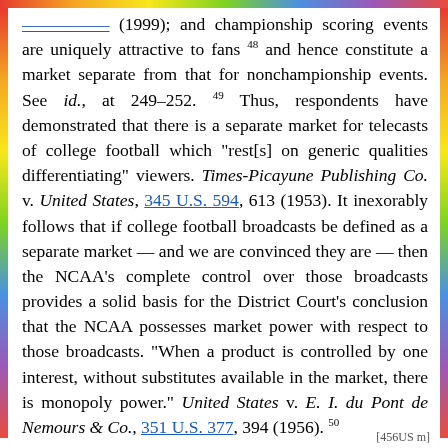... (1999); and championship scoring events are uniquely attractive to fans 48 and hence constitute a market separate from that for nonchampionship events. See id., at 249–252. 49 Thus, respondents have demonstrated that there is a separate market for telecasts of college football which "rest[s] on generic qualities differentiating" viewers. Times-Picayune Publishing Co. v. United States, 345 U.S. 594, 613 (1953). It inexorably follows that if college football broadcasts be defined as a separate market — and we are convinced they are — then the NCAA's complete control over those broadcasts provides a solid basis for the District Court's conclusion that the NCAA possesses market power with respect to those broadcasts. "When a product is controlled by one interest, without substitutes available in the market, there is monopoly power." United States v. E. I. du Pont de Nemours & Co., 351 U.S. 377, 394 (1956). 50
[456US m]